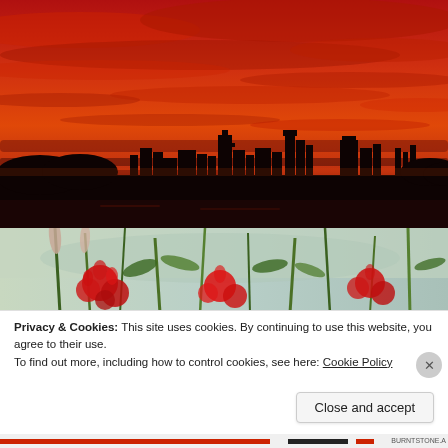[Figure (photo): Dramatic red and orange sunset sky with dark silhouette of a city skyline including buildings and towers]
[Figure (photo): Close-up of red flowers and green grass/wheat stalks with blurred background]
Privacy & Cookies: This site uses cookies. By continuing to use this website, you agree to their use.
To find out more, including how to control cookies, see here: Cookie Policy
Close and accept